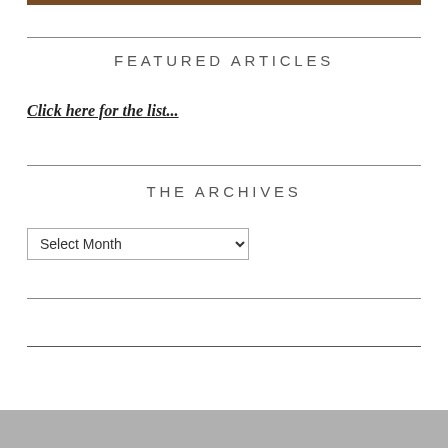FEATURED ARTICLES
Click here for the list...
THE ARCHIVES
Select Month